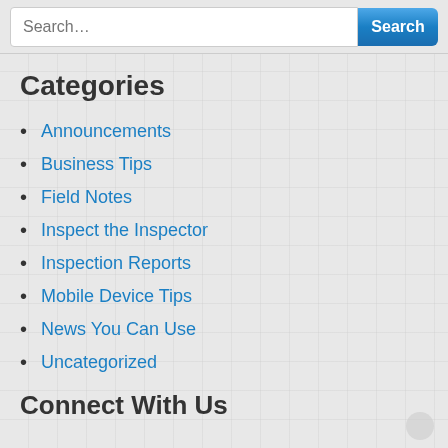Categories
Announcements
Business Tips
Field Notes
Inspect the Inspector
Inspection Reports
Mobile Device Tips
News You Can Use
Uncategorized
Connect With Us